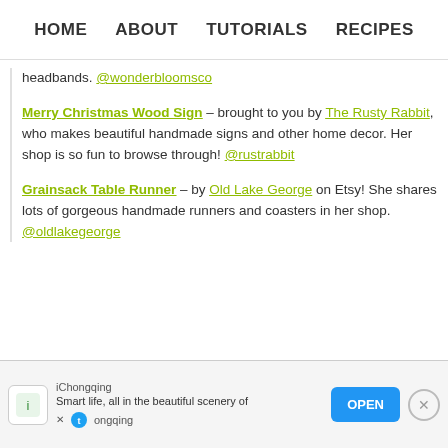HOME   ABOUT   TUTORIALS   RECIPES
headbands. @wonderbloomsco
Merry Christmas Wood Sign – brought to you by The Rusty Rabbit, who makes beautiful handmade signs and other home decor. Her shop is so fun to browse through! @rustrabbit
Grainsack Table Runner – by Old Lake George on Etsy! She shares lots of gorgeous handmade runners and coasters in her shop. @oldlakegeorge
[Figure (screenshot): iChongqing advertisement banner with Open button and close X button]